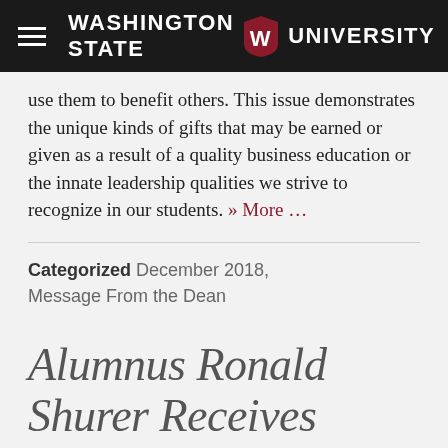Washington State University
use them to benefit others. This issue demonstrates the unique kinds of gifts that may be earned or given as a result of a quality business education or the innate leadership qualities we strive to recognize in our students. » More …
Categorized December 2018, Message From the Dean
Alumnus Ronald Shurer Receives Medal of Honor